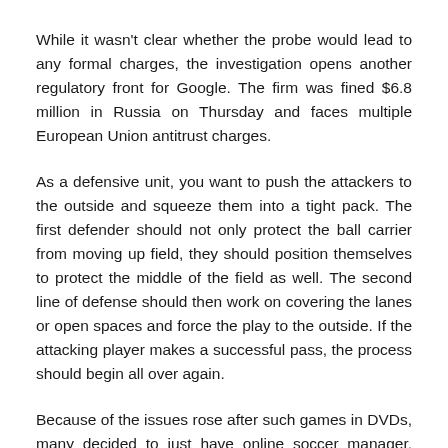While it wasn't clear whether the probe would lead to any formal charges, the investigation opens another regulatory front for Google. The firm was fined $6.8 million in Russia on Thursday and faces multiple European Union antitrust charges.
As a defensive unit, you want to push the attackers to the outside and squeeze them into a tight pack. The first defender should not only protect the ball carrier from moving up field, they should position themselves to protect the middle of the field as well. The second line of defense should then work on covering the lanes or open spaces and force the play to the outside. If the attacking player makes a successful pass, the process should begin all over again.
Because of the issues rose after such games in DVDs, many decided to just have online soccer manager. This is indeed a very popular way of playing football using gadgets nowadays, because with the help of the online soccer manager, the game will always be updated as it is accessed directly from the system of the producer however, the player